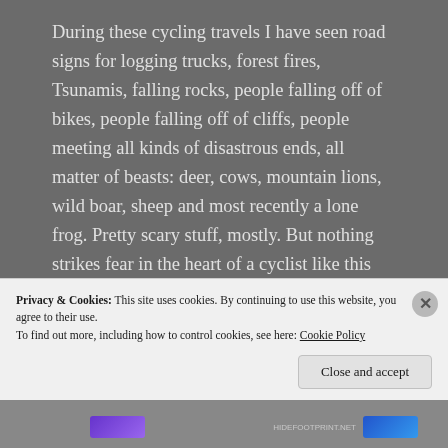During these cycling travels I have seen road signs for logging trucks, forest fires, Tsunamis, falling rocks, people falling off of bikes, people falling off of cliffs, people meeting all kinds of disastrous ends, all matter of beasts: deer, cows, mountain lions, wild boar, sheep and most recently a lone frog. Pretty scary stuff, mostly. But nothing strikes fear in the heart of a cyclist like this one:
[Figure (photo): Outdoor photo showing a grey overcast sky, forested hills in the background, a street lamp post on the left, overhead wires, and a red triangular warning road sign on the right showing '10%' gradient.]
Privacy & Cookies: This site uses cookies. By continuing to use this website, you agree to their use.
To find out more, including how to control cookies, see here: Cookie Policy